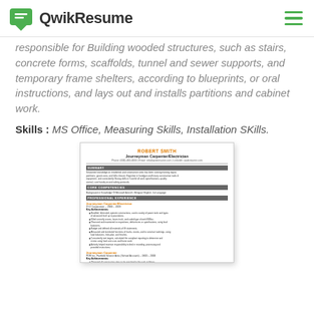QwikResume
responsible for Building wooded structures, such as stairs, concrete forms, scaffolds, tunnel and sewer supports, and temporary frame shelters, according to blueprints, or oral instructions, and lays out and installs partitions and cabinet work.
Skills : MS Office, Measuring Skills, Installation SKills.
[Figure (screenshot): Preview thumbnail of a resume for Robert Smith, Journeyman Carpenter/Electrician, showing sections for summary, core competencies, professional experience with bullet points.]